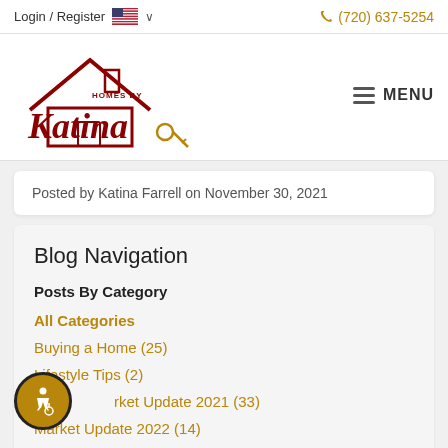Login / Register  (720) 637-5254
[Figure (logo): Homes by Katina logo with house roofline and key icon in dark red/maroon color]
MENU
Posted by Katina Farrell on November 30, 2021
Blog Navigation
Posts By Category
All Categories
Buying a Home  (25)
Lifestyle Tips  (2)
Market Update 2021  (33)
Market Update 2022  (14)